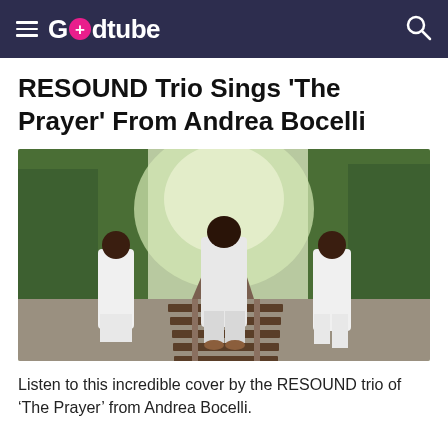Godtube
RESOUND Trio Sings 'The Prayer' From Andrea Bocelli
[Figure (photo): Three members of the RESOUND Trio dressed in white outfits standing on a railway track surrounded by trees. Two women stand on either side of a man in the center.]
Listen to this incredible cover by the RESOUND trio of ‘The Prayer’ from Andrea Bocelli.